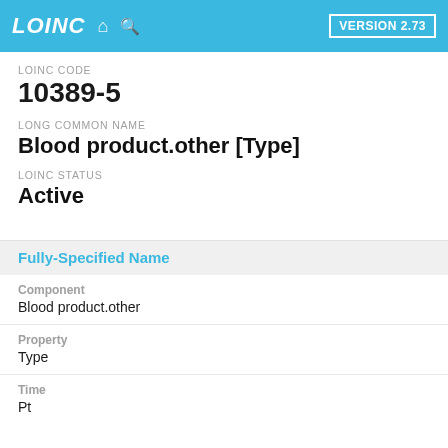LOINC VERSION 2.73
LOINC CODE
10389-5
LONG COMMON NAME
Blood product.other [Type]
LOINC STATUS
Active
Fully-Specified Name
Component
Blood product.other
Property
Type
Time
Pt